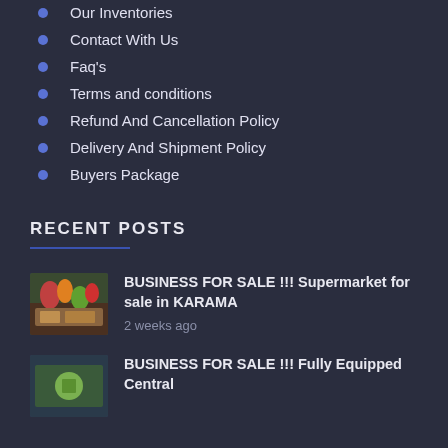Our Inventories
Contact With Us
Faq's
Terms and conditions
Refund And Cancellation Policy
Delivery And Shipment Policy
Buyers Package
RECENT POSTS
BUSINESS FOR SALE !!! Supermarket for sale in KARAMA
2 weeks ago
BUSINESS FOR SALE !!!  Fully Equipped Central